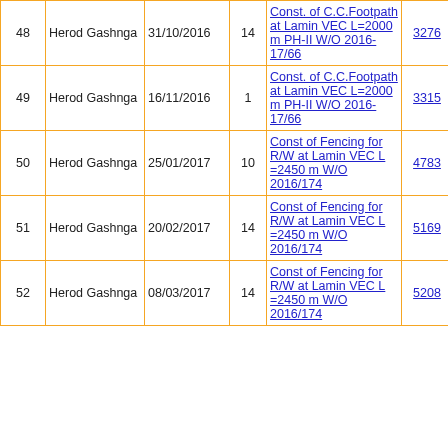| No. | Name | Date | Pg | Description | W/O No. | Amount | 0 |
| --- | --- | --- | --- | --- | --- | --- | --- |
| 48 | Herod Gashnga | 31/10/2016 | 14 | Const. of C.C.Footpath at Lamin VEC L=2000 m PH-II W/O 2016-17/66 | 3276 | 2366 | 0 |
| 49 | Herod Gashnga | 16/11/2016 | 1 | Const. of C.C.Footpath at Lamin VEC L=2000 m PH-II W/O 2016-17/66 | 3315 | 169 | 0 |
| 50 | Herod Gashnga | 25/01/2017 | 10 | Const of Fencing for R/W at Lamin VEC L =2450 m W/O 2016/174 | 4783 | 1690 | 0 |
| 51 | Herod Gashnga | 20/02/2017 | 14 | Const of Fencing for R/W at Lamin VEC L =2450 m W/O 2016/174 | 5169 | 2366 | 0 |
| 52 | Herod Gashnga | 08/03/2017 | 14 | Const of Fencing for R/W at Lamin VEC L =2450 m W/O 2016/174 | 5208 | 2366 | 0 |